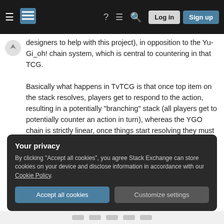Stack Exchange navigation bar with hamburger menu, logo, help, chat, search icons, Log in and Sign up buttons
designers to help with this project), in opposition to the Yu-Gi_oh! chain system, which is central to countering in that TCG.

Basically what happens in TvTCG is that once top item on the stack resolves, players get to respond to the action, resulting in a potentially "branching" stack (all players get to potentially counter an action in turn), whereas the YGO chain is strictly linear, once things start resolving they must all resolve before new items can be added.
Your privacy
By clicking "Accept all cookies", you agree Stack Exchange can store cookies on your device and disclose information in accordance with our Cookie Policy.
Accept all cookies
Customize settings